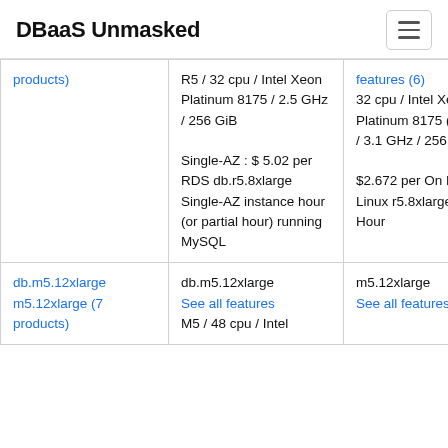DBaaS Unmasked
| Instance | RDS / AWS | EC2 / AWS |
| --- | --- | --- |
| (link: products) | R5 / 32 cpu / Intel Xeon Platinum 8175 / 2.5 GHz / 256 GiB

Single-AZ : $ 5.02 per RDS db.r5.8xlarge Single-AZ instance hour (or partial hour) running MySQL | features (6)
32 cpu / Intel Xeon Platinum 8175 (Skylake) / 3.1 GHz / 256 GiB

$2.672 per On Demand Linux r5.8xlarge Instance Hour |
| db.m5.12xlarge m5.12xlarge (7 products) | db.m5.12xlarge
See all features
M5 / 48 cpu / Intel | m5.12xlarge
See all
features (7) |